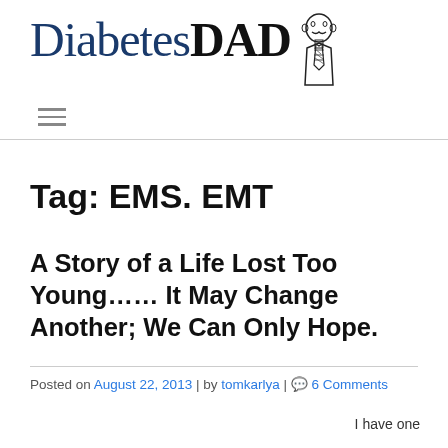DiabetesDAD [logo with illustrated figure]
Tag: EMS. EMT
A Story of a Life Lost Too Young…… It May Change Another; We Can Only Hope.
Posted on August 22, 2013 | by tomkarlya | 6 Comments
I have one